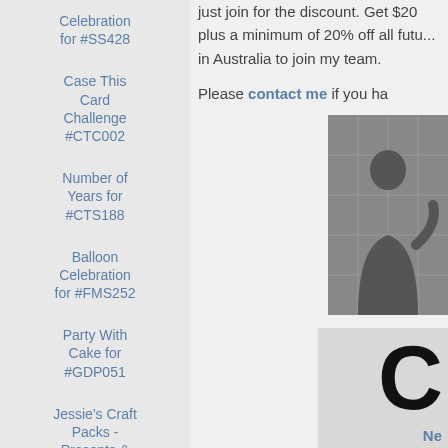Celebration for #SS428
Case This Card Challenge #CTC002
Number of Years for #CTS188
Balloon Celebration for #FMS252
Party With Cake for #GDP051
Jessie's Craft Packs - Presents & Pinecones
Wild About Flowers - New
just join for the discount. Get $20 plus a minimum of 20% off all future in Australia to join my team.
Please contact me if you ha
[Figure (photo): Black and white photo of a person]
[Figure (other): Partial view of a large letter C and 'Ne' text below]